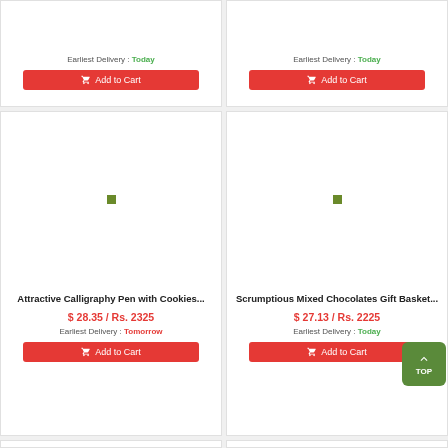[Figure (screenshot): E-commerce product listing page showing 4 product cards in a 2-column grid layout. Top row shows truncated cards with 'Add to Cart' buttons and 'Earliest Delivery: Today'. Middle row shows two product cards: 'Attractive Calligraphy Pen with Cookies...' priced at $28.35/Rs.2325 with Tomorrow delivery, and 'Scrumptious Mixed Chocolates Gift Basket...' priced at $27.13/Rs.2225 with Today delivery. A green TOP button overlay is visible. Bottom row shows partial cards.]